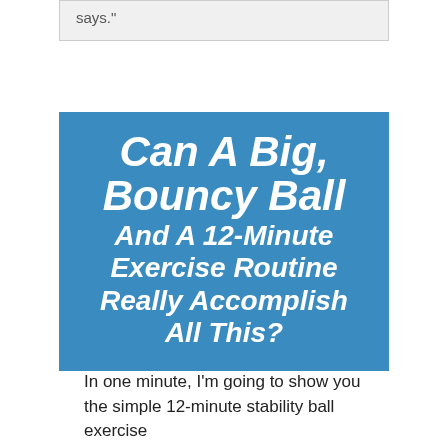says."
[Figure (infographic): Blue box with white bold italic text reading: Can A Big, Bouncy Ball And A 12-Minute Exercise Routine Really Accomplish All This?]
In one minute, I'm going to show you the simple 12-minute stability ball exercise